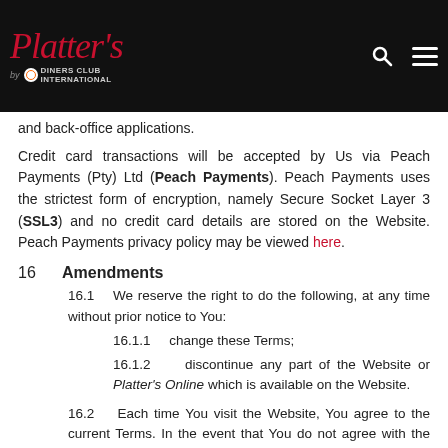Platter's by Diners Club International [header navigation]
and back-office applications.
Credit card transactions will be accepted by Us via Peach Payments (Pty) Ltd (Peach Payments). Peach Payments uses the strictest form of encryption, namely Secure Socket Layer 3 (SSL3) and no credit card details are stored on the Website. Peach Payments privacy policy may be viewed here.
16  Amendments
16.1   We reserve the right to do the following, at any time without prior notice to You:
16.1.1   change these Terms;
16.1.2   discontinue any part of the Website or Platter's Online which is available on the Website.
16.2   Each time You visit the Website, You agree to the current Terms. In the event that You do not agree with the Terms You must immediately leave the Website. Please submit any concerns You may have to Us at feedback@wineonaplatter.com.